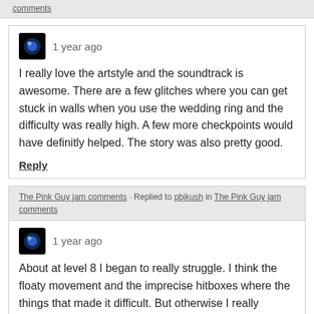comments
1 year ago
I really love the artstyle and the soundtrack is awesome. There are a few glitches where you can get stuck in walls when you use the wedding ring and the difficulty was really high. A few more checkpoints would have definitly helped. The story was also pretty good.
Reply
The Pink Guy jam comments · Replied to pbjkush in The Pink Guy jam comments
1 year ago
About at level 8 I began to really struggle. I think the floaty movement and the imprecise hitboxes where the things that made it difficult. But otherwise I really enjoyed playing